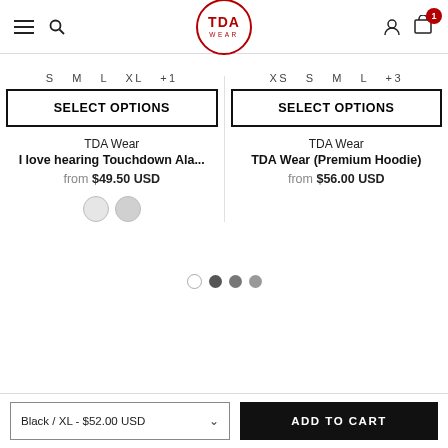TDA Wear — navigation header with hamburger menu, search, TDA Wear logo, user icon, cart icon with badge
S  M  L  XL  +1
SELECT OPTIONS
TDA Wear
I love hearing Touchdown Ala...
from $49.50 USD
XS  S  M  L  +3
SELECT OPTIONS
TDA Wear
TDA Wear (Premium Hoodie)
from $56.00 USD
Black / XL - $52.00 USD
ADD TO CART